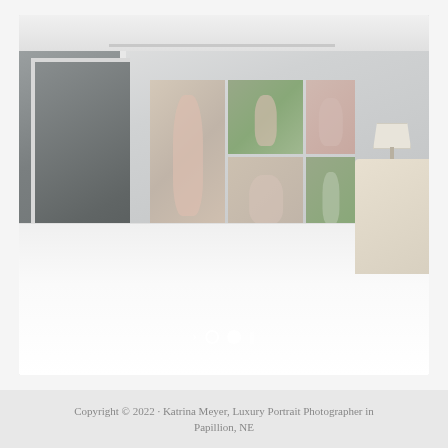[Figure (photo): Slideshow of a bedroom interior with maternity canvas wall art displayed above a bed. The room has white walls, dark wood floors, a door on the left, a lamp on the right nightstand, and a white upholstered headboard. Canvas art panels show maternity photography portraits arranged in a grid on the wall.]
Copyright © 2022 · Katrina Meyer, Luxury Portrait Photographer in Papillion, NE